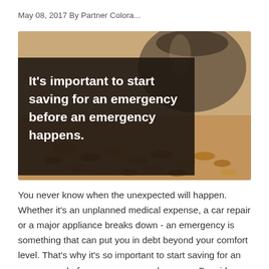May 08, 2017 By Partner Colora...
[Figure (photo): A glass jar tipped over spilling coins onto a surface, with a dark overlay box containing white bold text that reads: It's important to start saving for an emergency before an emergency happens.]
You never know when the unexpected will happen. Whether it's an unplanned medical expense, a car repair or a major appliance breaks down - an emergency is something that can put you in debt beyond your comfort level. That's why it's so important to start saving for an emergency before an emergency happens. Consider opening a savings account at